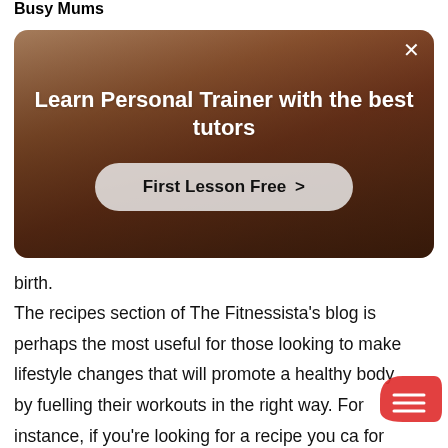Busy Mums
[Figure (screenshot): Advertisement overlay card showing a woman exercising in a gym. Text reads: Learn Personal Trainer with the best tutors. Button: First Lesson Free >. Close button X in top right corner.]
birth.
The recipes section of The Fitnessista's blog is perhaps the most useful for those looking to make lifestyle changes that will promote a healthy body by fuelling their workouts in the right way. For instance, if you're looking for a recipe you ca for breakfast, lunch or dinner, you'll find a dedicated